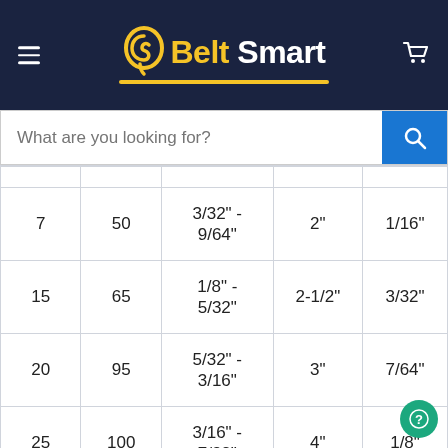[Figure (logo): Belt Smart logo on dark navy background with hamburger menu and cart icon]
[Figure (screenshot): Search bar with placeholder text 'What are you looking for?' and blue search button]
| 7 | 50 | 3/32" - 9/64" | 2" | 1/16" |
| 15 | 65 | 1/8" - 5/32" | 2-1/2" | 3/32" |
| 20 | 95 | 5/32" - 3/16" | 3" | 7/64" |
| 25 | 100 | 3/16" - 7/32" | 4" | 1/8" |